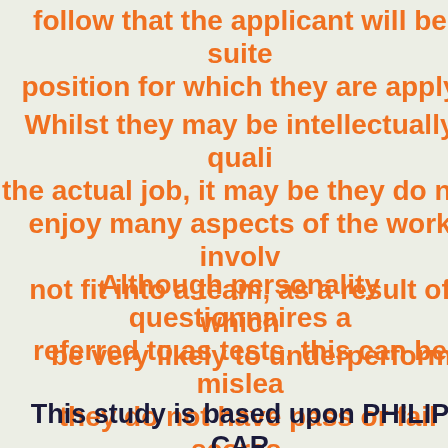follow that the applicant will be suited to the position for which they are applying.
Whilst they may be intellectually qualified to do the actual job, it may be they do not enjoy many aspects of the work involved, not fit into a team, as a result of which they may be very likely to underperform.
Although personality questionnaires are often referred to as tests, this can be misleading as they do not have pass or fail scores. They are sometimes more accurately described as profiles and are designed to measure attitudes, opinions and values, and are not usually timed.
This study is based upon PHILIP CARTER "Assess your emotional intelligence